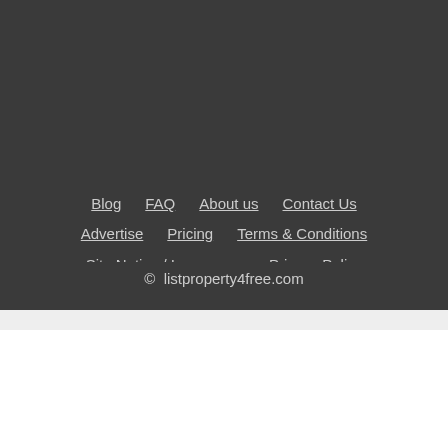Blog  FAQ  About us  Contact Us  Advertise  Pricing  Terms & Conditions  Site Notice / Impressum  Privacy Policy
© listproperty4free.com